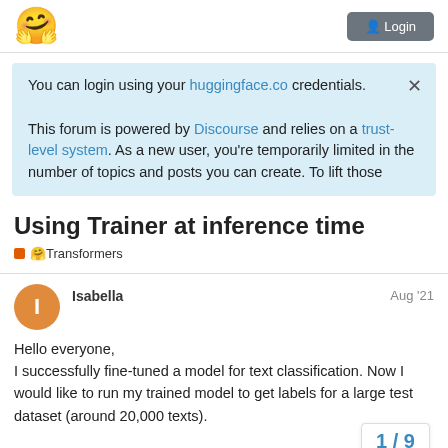🤗 [Login button]
You can login using your huggingface.co credentials.

This forum is powered by Discourse and relies on a trust-level system. As a new user, you're temporarily limited in the number of topics and posts you can create. To lift those
Using Trainer at inference time
🟧 🤗Transformers
Isabella  Aug '21

Hello everyone,
I successfully fine-tuned a model for text classification. Now I would like to run my trained model to get labels for a large test dataset (around 20,000 texts).

So I had the idea to integrate into Trainer...
1 / 9